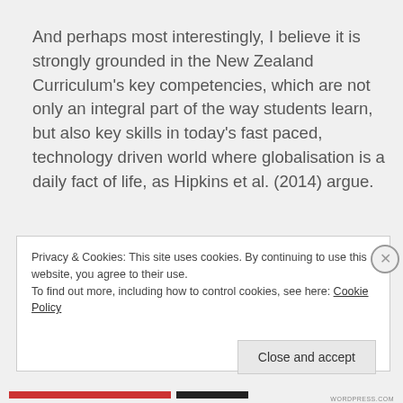And perhaps most interestingly, I believe it is strongly grounded in the New Zealand Curriculum's key competencies, which are not only an integral part of the way students learn, but also key skills in today's fast paced, technology driven world where globalisation is a daily fact of life, as Hipkins et al. (2014) argue.
Privacy & Cookies: This site uses cookies. By continuing to use this website, you agree to their use.
To find out more, including how to control cookies, see here: Cookie Policy